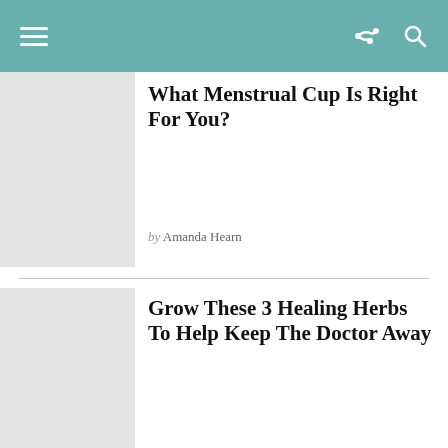Navigation header with hamburger menu, share icon, and search icon
What Menstrual Cup Is Right For You?
by Amanda Hearn
Grow These 3 Healing Herbs To Help Keep The Doctor Away
by Ella James
7 Surprising Health